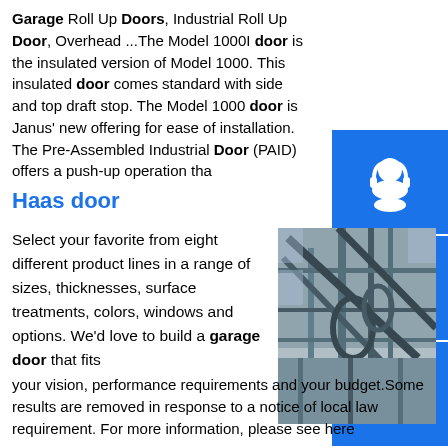Garage Roll Up Doors, Industrial Roll Up Door, Overhead ...The Model 1000I door is the insulated version of Model 1000. This insulated door comes standard with side and top draft stop. The Model 1000 door is Janus' new offering for ease of installation. The Pre-Assembled Industrial Door (PAID) offers a push-up operation tha
Haas door
Select your favorite from eight different product lines in a range of sizes, thicknesses, surface treatments, colors, windows and options. We'd love to build a garage door that fits your vision, performance requirements and your budget.Some results are removed in response to a notice of local law requirement. For more information, please see here
[Figure (photo): Photograph of industrial steel pipe/structure framework viewed from below, with glass ceiling visible in background]